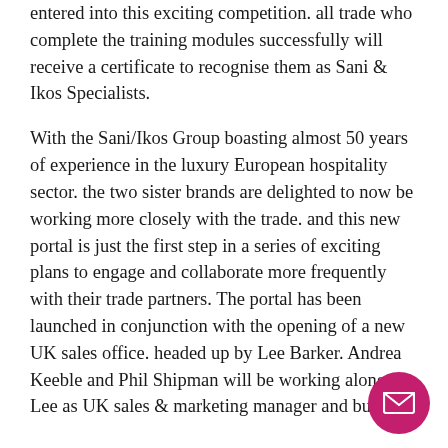entered into this exciting competition. all trade who complete the training modules successfully will receive a certificate to recognise them as Sani & Ikos Specialists.
With the Sani/Ikos Group boasting almost 50 years of experience in the luxury European hospitality sector. the two sister brands are delighted to now be working more closely with the trade. and this new portal is just the first step in a series of exciting plans to engage and collaborate more frequently with their trade partners. The portal has been launched in conjunction with the opening of a new UK sales office. headed up by Lee Barker. Andrea Keeble and Phil Shipman will be working alongside Lee as UK sales & marketing manager and business